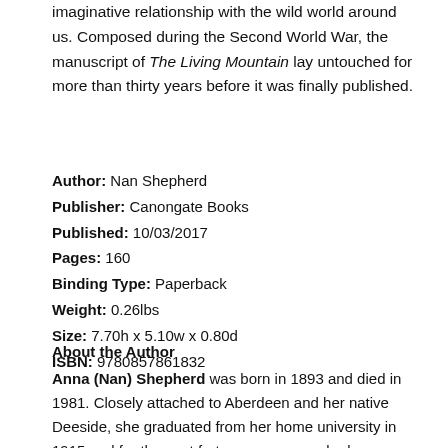imaginative relationship with the wild world around us. Composed during the Second World War, the manuscript of The Living Mountain lay untouched for more than thirty years before it was finally published.
Author: Nan Shepherd
Publisher: Canongate Books
Published: 10/03/2017
Pages: 160
Binding Type: Paperback
Weight: 0.26lbs
Size: 7.70h x 5.10w x 0.80d
ISBN: 9780857861832
About the Author
Anna (Nan) Shepherd was born in 1893 and died in 1981. Closely attached to Aberdeen and her native Deeside, she graduated from her home university in 1915 and for the next forty-one years worked as a lecturer in English. An enthusiastic walker and hillwalker, she was a regular visitor to the